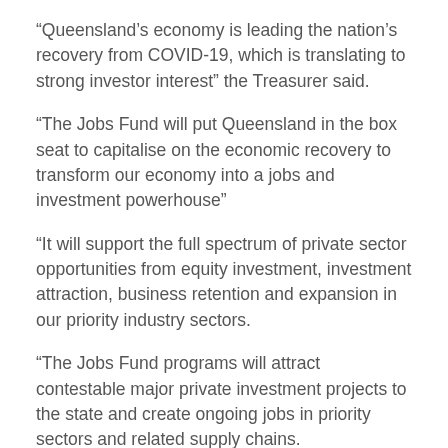“Queensland’s economy is leading the nation’s recovery from COVID-19, which is translating to strong investor interest” the Treasurer said.
“The Jobs Fund will put Queensland in the box seat to capitalise on the economic recovery to transform our economy into a jobs and investment powerhouse”
“It will support the full spectrum of private sector opportunities from equity investment, investment attraction, business retention and expansion in our priority industry sectors.
“The Jobs Fund programs will attract contestable major private investment projects to the state and create ongoing jobs in priority sectors and related supply chains.
“The Palaszczuk Government has already driven delivery of over $2.5 billion in capital investment and up to 4,100